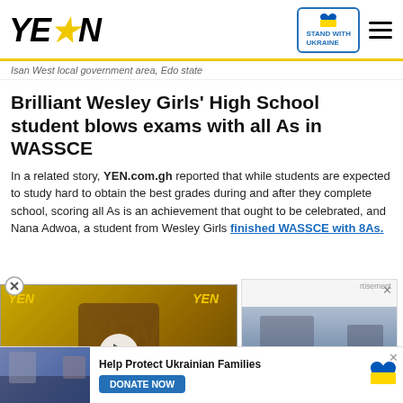YEN (logo) | STAND WITH UKRAINE | menu
Isan West local government area, Edo state
Brilliant Wesley Girls' High School student blows exams with all As in WASSCE
In a related story, YEN.com.gh reported that while students are expected to study hard to obtain the best grades during and after they complete school, scoring all As is an achievement that ought to be celebrated, and Nana Adwoa, a student from Wesley Girls finished WASSCE with 8As.
[Figure (screenshot): Video player thumbnail showing a man with glasses, YEN logo visible, caption reads SUSPECTED POLICE KILLER ARRESTED with minimize button]
[Figure (photo): Advertisement panel showing a photo of people in a disaster scene]
[Figure (infographic): Bottom banner: Help Protect Ukrainian Families with DONATE NOW button and Ukraine heart logo]